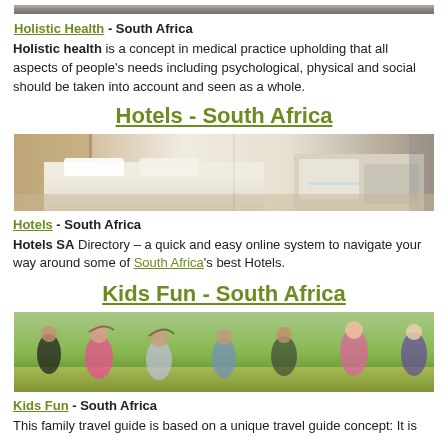[Figure (photo): Top cropped photo of stones/rocks (partial, at top of page)]
Holistic Health - South Africa
Holistic health is a concept in medical practice upholding that all aspects of people's needs including psychological, physical and social should be taken into account and seen as a whole.
Hotels - South Africa
[Figure (photo): Photo of a hotel room with a bed and a sitting area with a sofa]
Hotels - South Africa
Hotels SA Directory – a quick and easy online system to navigate your way around some of South Africa's best Hotels.
Kids Fun - South Africa
[Figure (photo): Photo of children running and playing outdoors on grass]
Kids Fun - South Africa
This family travel guide is based on a unique travel guide concept: It is